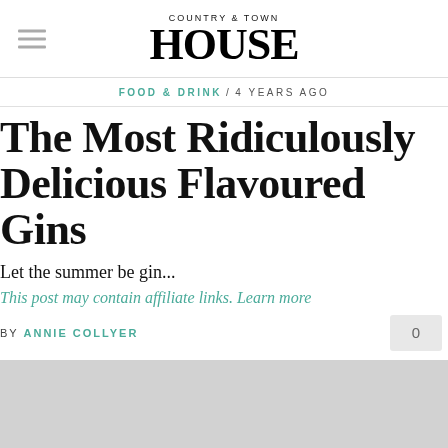COUNTRY & TOWN HOUSE
FOOD & DRINK / 4 YEARS AGO
The Most Ridiculously Delicious Flavoured Gins
Let the summer be gin...
This post may contain affiliate links. Learn more
BY ANNIE COLLYER
[Figure (photo): Partially visible image at bottom of page, light grey background suggesting a gin-related photo]